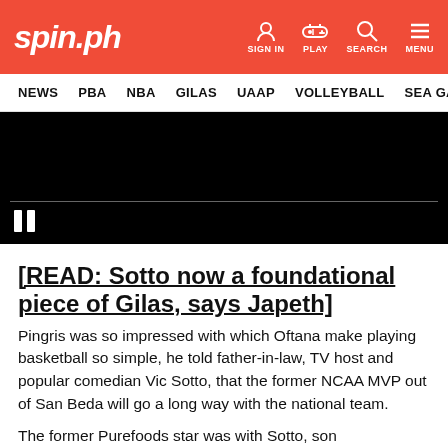spin.ph — SIGN IN  PLAY  SEARCH  MENU
NEWS  PBA  NBA  GILAS  UAAP  VOLLEYBALL  SEA GAMES
[Figure (screenshot): Black video player with pause button and progress bar]
[READ: Sotto now a foundational piece of Gilas, says Japeth]
Pingris was so impressed with which Oftana make playing basketball so simple, he told father-in-law, TV host and popular comedian Vic Sotto, that the former NCAA MVP out of San Beda will go a long way with the national team.
The former Purefoods star was with Sotto, son